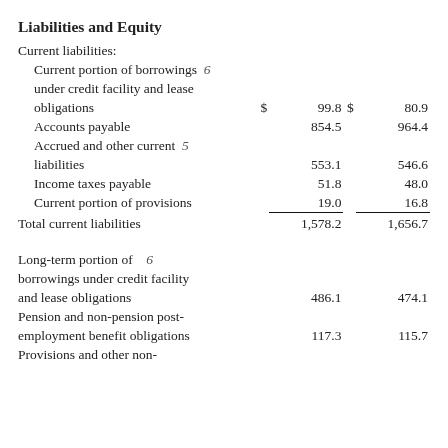Liabilities and Equity
|  | Note | $ | Col1 | $ | Col2 |
| --- | --- | --- | --- | --- | --- |
| Current liabilities: |  |  |  |  |  |
| Current portion of borrowings under credit facility and lease obligations | 6 | $ | 99.8 | $ | 80.9 |
| Accounts payable |  |  | 854.5 |  | 964.4 |
| Accrued and other current liabilities | 5 |  | 553.1 |  | 546.6 |
| Income taxes payable |  |  | 51.8 |  | 48.0 |
| Current portion of provisions |  |  | 19.0 |  | 16.8 |
| Total current liabilities |  |  | 1,578.2 |  | 1,656.7 |
| Long-term portion of borrowings under credit facility and lease obligations | 6 |  | 486.1 |  | 474.1 |
| Pension and non-pension post-employment benefit obligations |  |  | 117.3 |  | 115.7 |
| Provisions and other non- |  |  |  |  |  |